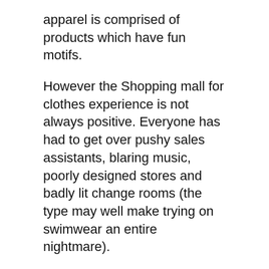apparel is comprised of products which have fun motifs.
However the Shopping mall for clothes experience is not always positive. Everyone has had to get over pushy sales assistants, blaring music, poorly designed stores and badly lit change rooms (the type may well make trying on swimwear an entire nightmare).
You could imagine that operating clothing shop or boutique requires in order to invest much for your stocks. You are probably one of those individuals who think that stylish clothing is costly. What’s more, then you think that you want to have a huge capital in order for you to begin this associated with